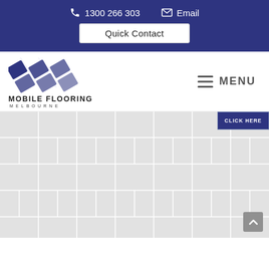1300 266 303  Email  Quick Contact
[Figure (logo): Mobile Flooring Melbourne logo with diamond tile pattern in dark blue]
MENU
[Figure (screenshot): Grey tile flooring pattern background with CLICK HERE button in top right and scroll-to-top button in bottom right]